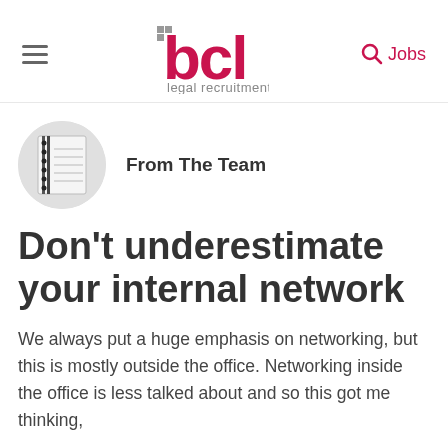BCL Legal Recruitment — navigation header with hamburger menu, BCL logo, and Jobs search link
[Figure (logo): BCL legal recruitment logo — stylized red 'bcl' letters with small square grid mark, and 'legal recruitment' text below in grey]
From The Team
Don't underestimate your internal network
We always put a huge emphasis on networking, but this is mostly outside the office. Networking inside the office is less talked about and so this got me thinking,